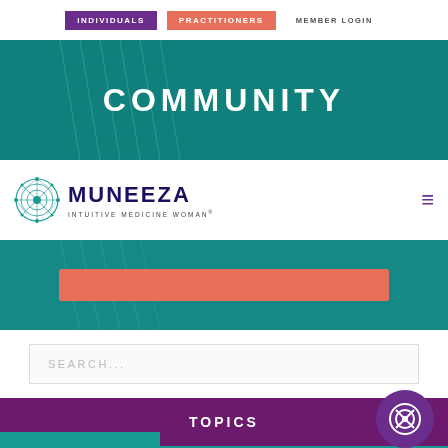INDIVIDUALS | PRACTITIONERS | MEMBER LOGIN
COMMUNITY
[Figure (logo): Muneeza Intuitive Medicine Woman logo with mandala icon]
[Figure (screenshot): Coral/salmon colored button bar on teal background]
SEARCH...
TOPICS
Social media icons: Facebook, Twitter, Instagram, LinkedIn, Pinterest